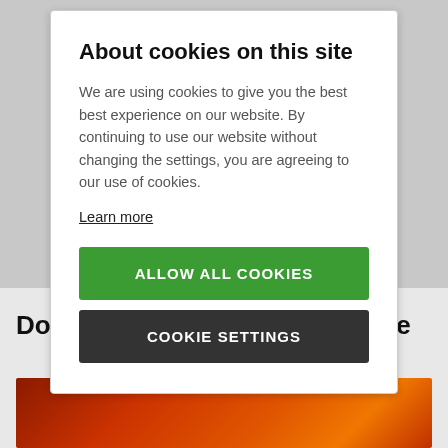About cookies on this site
We are using cookies to give you the best best experience on our website. By continuing to use our website without changing the settings, you are agreeing to our use of cookies.
Learn more
ALLOW ALL COOKIES
COOKIE SETTINGS
Don't panic there is plenty more
[Figure (photo): Sunset or fire sky image with orange and red hues]